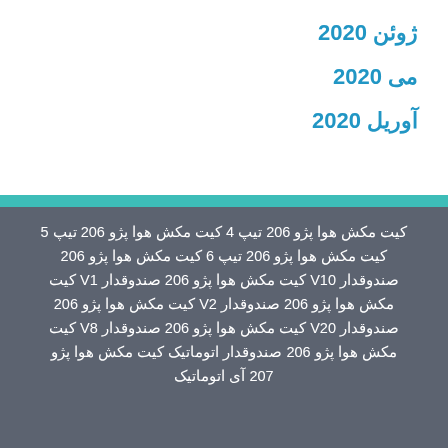ژوئن 2020
می 2020
آوریل 2020
کیت مکش هوا پژو 206 تیپ 4 کیت مکش هوا پژو 206 تیپ 5 کیت مکش هوا پژو 206 تیپ 6 کیت مکش هوا پژو 206 صندوقدار V10 کیت مکش هوا پژو 206 صندوقدار V1 کیت مکش هوا پژو 206 صندوقدار V2 کیت مکش هوا پژو 206 صندوقدار V8 کیت مکش هوا پژو 206 صندوقدار V20 کیت مکش هوا پژو 206 صندوقدار اتوماتیک کیت مکش هوا پژو 207 آی اتوماتیک